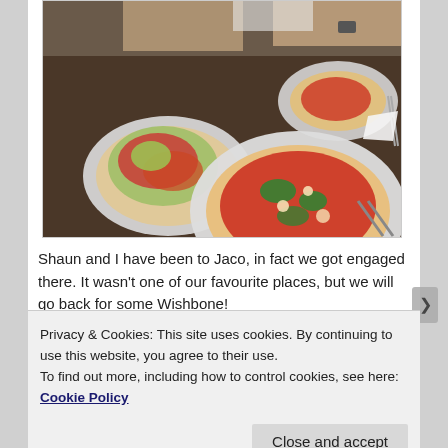[Figure (photo): Photo of multiple plates of pizza and salad on a restaurant table, with people seated around the table visible in the background.]
Shaun and I have been to Jaco, in fact we got engaged there. It wasn't one of our favourite places, but we will go back for some Wishbone!
Privacy & Cookies: This site uses cookies. By continuing to use this website, you agree to their use.
To find out more, including how to control cookies, see here: Cookie Policy